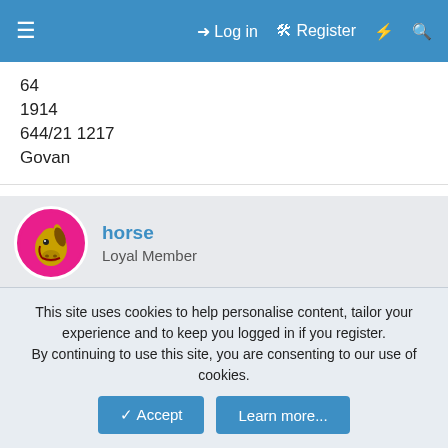≡   → Log in   ⚙ Register   ⚡   🔍
64
1914
644/21 1217
Govan
horse
Loyal Member
12 May 2020   #2
May be worth a thought if nothing else turns up, though not seen in 1881...

John Aroll
Birth Year: abt 1848
This site uses cookies to help personalise content, tailor your experience and to keep you logged in if you register.
By continuing to use this site, you are consenting to our use of cookies.
Accept   Learn more...